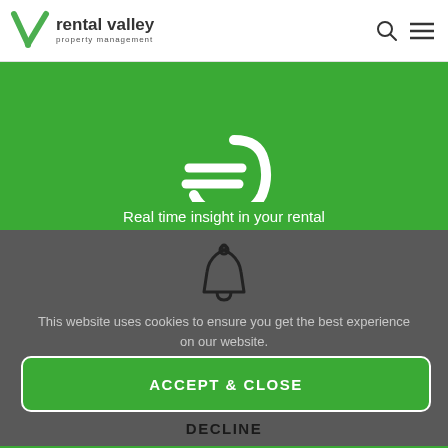[Figure (logo): Rental Valley property management logo with green V checkmark icon]
[Figure (illustration): Green background section with large white euro/currency symbol icon]
Real time insight in your rental
[Figure (illustration): Bell notification icon on dark grey background]
This website uses cookies to ensure you get the best experience on our website.
ACCEPT & CLOSE
DECLINE